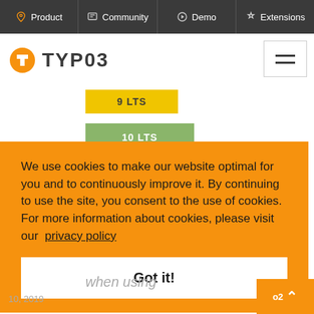Product  Community  Demo  Extensions
[Figure (logo): TYPO3 logo with orange icon and TYPO3 text]
9 LTS
10 LTS
We use cookies to make our website optimal for you and to continuously improve it. By continuing to use the site, you consent to the use of cookies.
For more information about cookies, please visit our  privacy policy
Got it!
when using
10, 2019